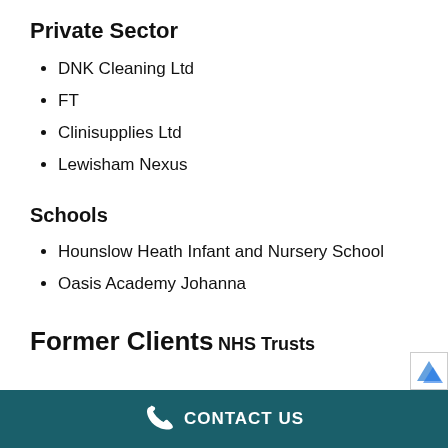Private Sector
DNK Cleaning Ltd
FT
Clinisupplies Ltd
Lewisham Nexus
Schools
Hounslow Heath Infant and Nursery School
Oasis Academy Johanna
Former Clients
NHS Trusts
CONTACT US